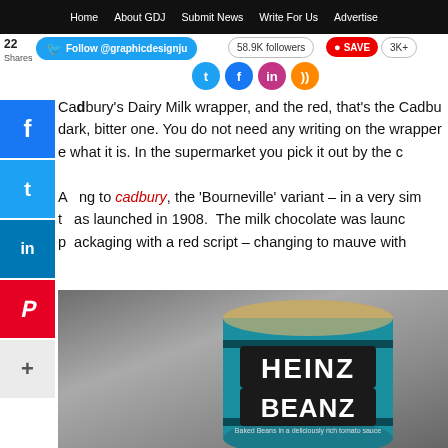Home   About GDJ   Submit News   Write For Us   Advertise
22 Shares
Follow @graphicdesignju   58.9K followers   SAVE   3K+
Cadbury's Dairy Milk wrapper, and the red, that's the Cadbury dark, bitter one. You do not need any writing on the wrapper e what it is. In the supermarket you pick it out by the c
A ng to cadbury, the 'Bourneville' variant – in a very sim t was launched in 1908.  The milk chocolate was launch packaging with a red script – changing to mauve with
[Figure (photo): A Heinz Beanz tin/can photographed against a grey gradient background. The can is teal/blue with the Heinz Beanz logo prominently displayed in white and gold lettering with text 'Baked Beans in a deliciously rich tomato sauce' at the bottom.]